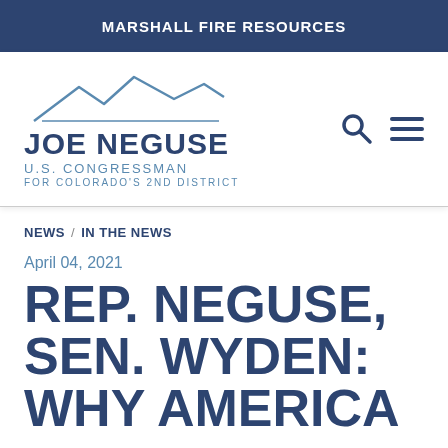MARSHALL FIRE RESOURCES
[Figure (logo): Joe Neguse U.S. Congressman for Colorado's 2nd District logo with mountain silhouette]
NEWS / IN THE NEWS
April 04, 2021
REP. NEGUSE, SEN. WYDEN: WHY AMERICA